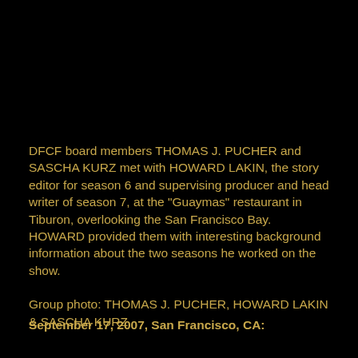DFCF board members THOMAS J. PUCHER and SASCHA KURZ met with HOWARD LAKIN, the story editor for season 6 and supervising producer and head writer of season 7, at the "Guaymas" restaurant in Tiburon, overlooking the San Francisco Bay.
HOWARD provided them with interesting background information about the two seasons he worked on the show.

Group photo: THOMAS J. PUCHER, HOWARD LAKIN & SASCHA KURZ.
September 17, 2007, San Francisco, CA: